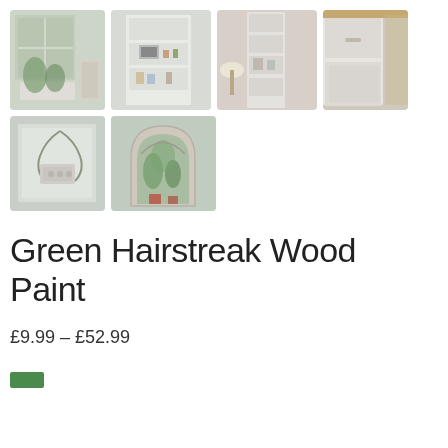[Figure (photo): Grid of 6 thumbnail photos showing painted furniture and home decor in white/cream paint: window box with plants, white bookcase with photos, tall white bookcase with lamp, white cabinet, wall art piece, and arched mirror with plants]
Green Hairstreak Wood Paint
£9.99 – £52.99
[Figure (other): Green color swatch]